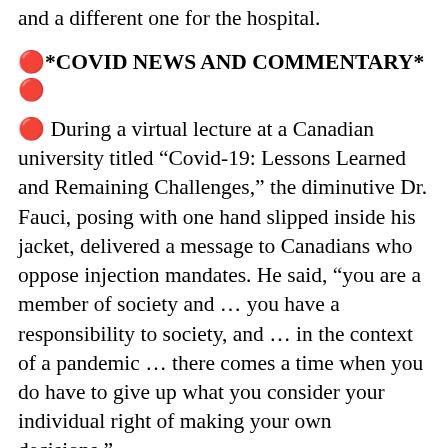and a different one for the hospital.
🔴*COVID NEWS AND COMMENTARY* 🔴
🔴 During a virtual lecture at a Canadian university titled “Covid-19: Lessons Learned and Remaining Challenges,” the diminutive Dr. Fauci, posing with one hand slipped inside his jacket, delivered a message to Canadians who oppose injection mandates. He said, “you are a member of society and … you have a responsibility to society, and … in the context of a pandemic … there comes a time when you do have to give up what you consider your individual right of making your own decisions.”
Oh. Okay. So, according to Fauci, individual rights are things you CONSIDER that you have.